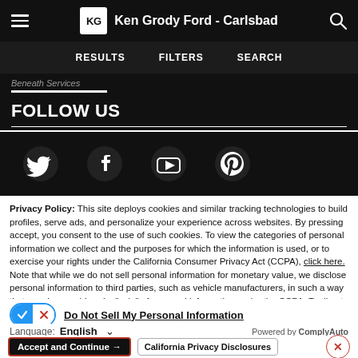Ken Grody Ford - Carlsbad
RESULTS   FILTERS   SEARCH
Beneath Services
FOLLOW US
[Figure (illustration): Social media icons: Twitter bird, Facebook f, YouTube play button, Pinterest P]
Privacy Policy: This site deploys cookies and similar tracking technologies to build profiles, serve ads, and personalize your experience across websites. By pressing accept, you consent to the use of such cookies. To view the categories of personal information we collect and the purposes for which the information is used, or to exercise your rights under the California Consumer Privacy Act (CCPA), click here. Note that while we do not sell personal information for monetary value, we disclose personal information to third parties, such as vehicle manufacturers, in such a way that may be considered a "sale" of personal information under the CCPA. To direct us to stop the sale of your personal information, or to re-access these settings or disclosures at anytime, click the following icon or link:
Do Not Sell My Personal Information
Language: English
Powered by ComplyAuto
Accept and Continue →   California Privacy Disclosures